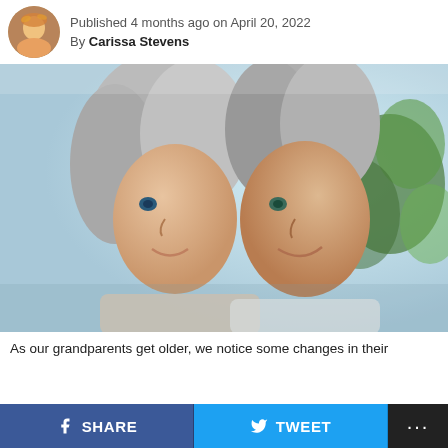Published 4 months ago on April 20, 2022
By Carissa Stevens
[Figure (photo): Elderly couple smiling, side profile, with greenery in the background]
As our grandparents get older, we notice some changes in their
SHARE  TWEET  ...